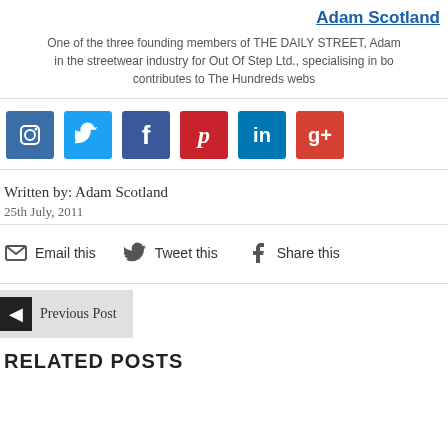Adam Scotland
One of the three founding members of THE DAILY STREET, Adam works in the streetwear industry for Out Of Step Ltd., specialising in bo... contributes to The Hundreds webs...
[Figure (infographic): Social media icon buttons: Instagram, Twitter, Facebook, Pinterest, LinkedIn, Google+]
Written by: Adam Scotland
25th July, 2011
Email this   Tweet this   Share this
◄  Previous Post
RELATED POSTS